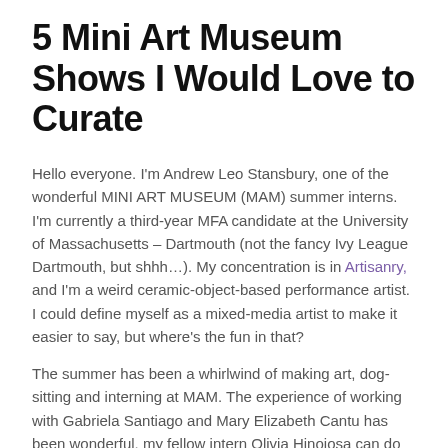5 Mini Art Museum Shows I Would Love to Curate
Hello everyone. I'm Andrew Leo Stansbury, one of the wonderful MINI ART MUSEUM (MAM) summer interns. I'm currently a third-year MFA candidate at the University of Massachusetts – Dartmouth (not the fancy Ivy League Dartmouth, but shhh…). My concentration is in Artisanry, and I'm a weird ceramic-object-based performance artist. I could define myself as a mixed-media artist to make it easier to say, but where's the fun in that?
The summer has been a whirlwind of making art, dog-sitting and interning at MAM. The experience of working with Gabriela Santiago and Mary Elizabeth Cantu has been wonderful, my fellow intern Olivia Hinojosa can do absolutely anything, and with their direction and help we all managed to pull together the wonderful show "Do I Remember the Alamo?" curated by Richard Teitz.